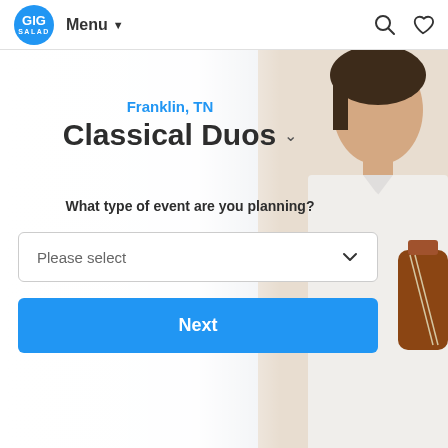GIG SALAD | Menu | Search | Favorite
Franklin, TN
Classical Duos
What type of event are you planning?
Please select
Next